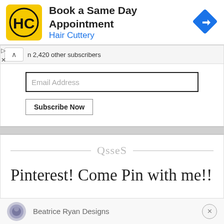[Figure (screenshot): Hair Cuttery ad banner with yellow square logo with HC text, title 'Book a Same Day Appointment', subtitle 'Hair Cuttery' in blue, and blue diamond direction arrow icon on right]
n 2,420 other subscribers
[Figure (screenshot): Email subscription widget with 'Email Address' input field and 'Subscribe Now' button]
[Figure (screenshot): Pinterest section with decorative script divider and heading 'Pinterest! Come Pin with me!!']
[Figure (screenshot): Bottom notification bar with circular avatar (Beatrice Ryan Designs logo) and text 'Beatrice Ryan Designs' with X close button]